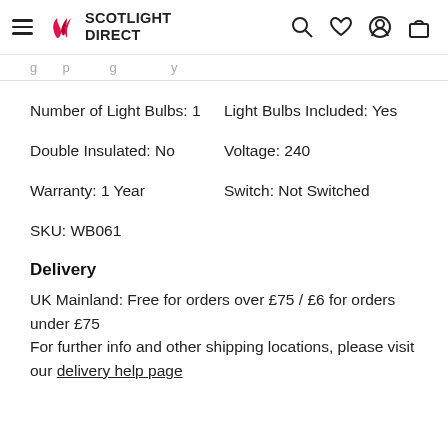Scotlight Direct — navigation header with hamburger, logo, search, wishlist, account, cart icons
g … p … g … y …
Number of Light Bulbs: 1   Light Bulbs Included: Yes
Double Insulated: No   Voltage: 240
Warranty: 1 Year   Switch: Not Switched
SKU: WB061
Delivery
UK Mainland: Free for orders over £75 / £6 for orders under £75
For further info and other shipping locations, please visit our delivery help page